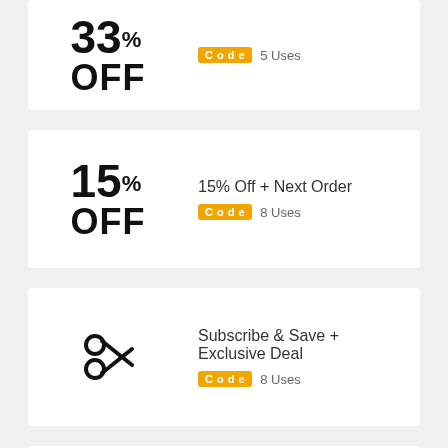33% OFF
Code  5 Uses
15% Off + Next Order
Code  8 Uses
Subscribe & Save + Exclusive Deal
Code  8 Uses
Save 75% Promotion
Sale  1 Uses